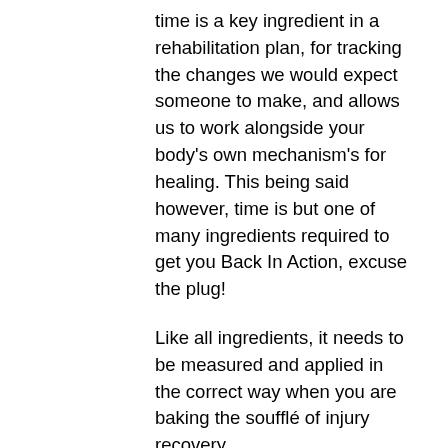time is a key ingredient in a rehabilitation plan, for tracking the changes we would expect someone to make, and allows us to work alongside your body's own mechanism's for healing. This being said however, time is but one of many ingredients required to get you Back In Action, excuse the plug!
Like all ingredients, it needs to be measured and applied in the correct way when you are baking the soufflé of injury recovery.
I see many new people come in 6 weeks or more after an injury, where they have hit a plateau of recovery where the “she’ll be right” method hasn’t quite worked out. I myself have used a bit of “she’ll be right” on a number of occasions, and at times it has served me well, and has I’m sure helped many of you. But in saying that, I have a job